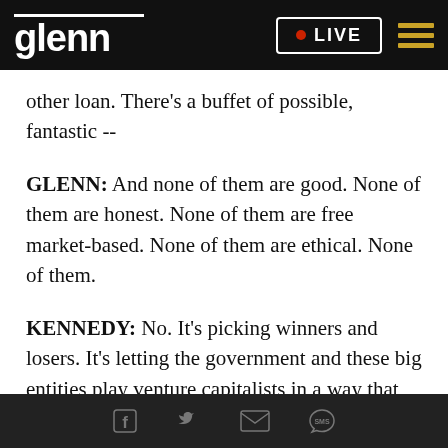glenn | LIVE
other loan. There's a buffet of possible, fantastic --
GLENN: And none of them are good. None of them are honest. None of them are free market-based. None of them are ethical. None of them.
KENNEDY: No. It's picking winners and losers. It's letting the government and these big entities play venture capitalists in a way that she shouldn't.
And it's not teaching sort of the discipline, so that we
Facebook | Twitter | Email | SMS